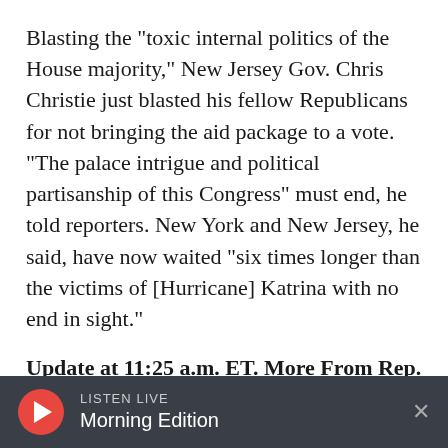Blasting the "toxic internal politics of the House majority," New Jersey Gov. Chris Christie just blasted his fellow Republicans for not bringing the aid package to a vote. "The palace intrigue and political partisanship of this Congress" must end, he told reporters. New York and New Jersey, he said, have now waited "six times longer than the victims of [Hurricane] Katrina with no end in sight."
Update at 11:25 a.m. ET. More From Rep. King:
"I'm saying anyone from New York and New
[Figure (screenshot): Listen Live audio player bar with play button, LISTEN LIVE label, Morning Edition program name, and close X button on dark background]